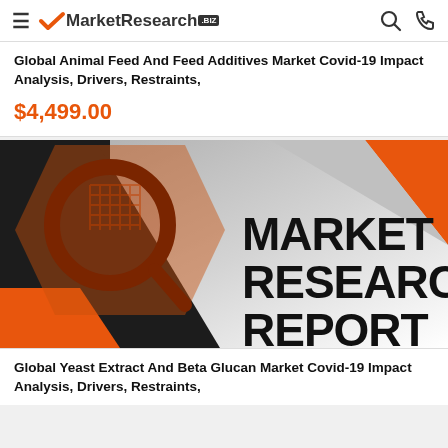MarketResearch.biz
Global Animal Feed And Feed Additives Market Covid-19 Impact Analysis, Drivers, Restraints,
$4,499.00
[Figure (illustration): Market Research Report cover image with magnifying glass over circuit board, dark and orange geometric shapes, text reads MARKET RESEARCH REPORT]
Global Yeast Extract And Beta Glucan Market Covid-19 Impact Analysis, Drivers, Restraints,